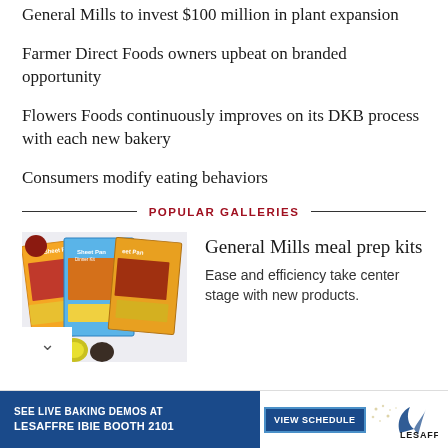General Mills to invest $100 million in plant expansion
Farmer Direct Foods owners upbeat on branded opportunity
Flowers Foods continuously improves on its DKB process with each new bakery
Consumers modify eating behaviors
POPULAR GALLERIES
[Figure (photo): General Mills Sheet Pan meal prep kit packages displayed overlapping]
General Mills meal prep kits
Ease and efficiency take center stage with new products.
[Figure (other): Lesaffre advertisement banner: SEE LIVE BAKING DEMOS AT LESAFFRE IBIE BOOTH 2101, with VIEW SCHEDULE button and Lesaffre logo]